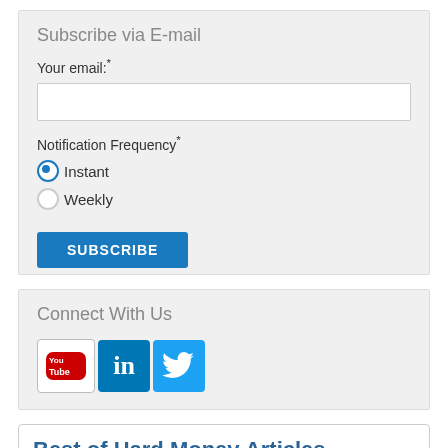Subscribe via E-mail
Your email:*
Notification Frequency*
Instant (selected)
Weekly
SUBSCRIBE
Connect With Us
[Figure (logo): YouTube, LinkedIn, and Twitter social media icons]
Best of Hard Money Articles
Free Guide